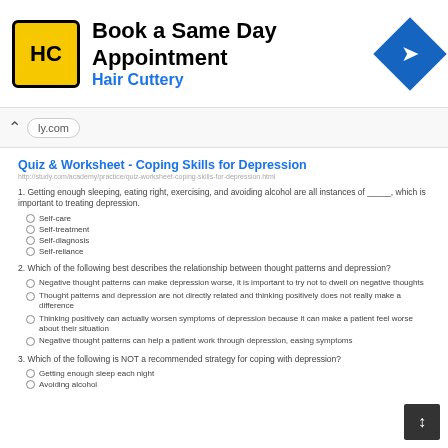[Figure (other): Advertisement banner for Hair Cuttery with logo, headline 'Book a Same Day Appointment', subtext 'Hair Cuttery', and a blue diamond navigation arrow icon]
ly.com
Quiz & Worksheet - Coping Skills for Depression
http://study.com/academy/practice/quiz-worksheet-coping-skills-for-depression.html
1. Getting enough sleeping, eating right, exercising, and avoiding alcohol are all instances of _____, which is important to treating depression.
Self-care
Self-treatment
Self-diagnosis
Self-reliance
2. Which of the following best describes the relationship between thought patterns and depression?
Negative thought patterns can make depression worse, it is important to try not to dwell on negative thoughts
Thought patterns and depression are not directly related and thinking positively does not really make a difference
Thinking positively can actually worsen symptoms of depression because it can make a patient feel worse about their situation
Negative thought patterns can help a patient work through depression, easing symptoms
3. Which of the following is NOT a recommended strategy for coping with depression?
Getting enough sleep each night
Avoiding alcohol